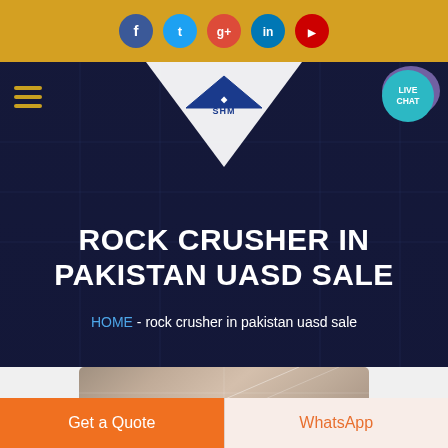[Figure (screenshot): Social media icon bar with Facebook, Twitter, Google+, LinkedIn, and YouTube circular icons on a golden/yellow background]
[Figure (screenshot): Website navigation header with hamburger menu, SHM logo in white triangle, and Live Chat button. Dark blue hero section with blueprint/construction background showing title 'ROCK CRUSHER IN PAKISTAN UASD SALE' and breadcrumb navigation. Bottom shows partial product image and Get a Quote / WhatsApp CTA buttons.]
ROCK CRUSHER IN PAKISTAN UASD SALE
HOME  -  rock crusher in pakistan uasd sale